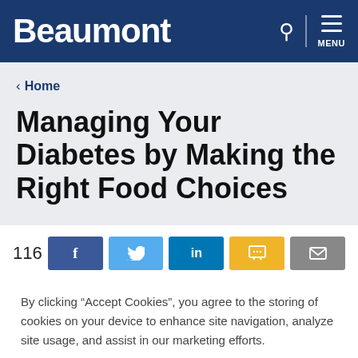Beaumont
< Home
Managing Your Diabetes by Making the Right Food Choices
116
By clicking “Accept Cookies”, you agree to the storing of cookies on your device to enhance site navigation, analyze site usage, and assist in our marketing efforts.